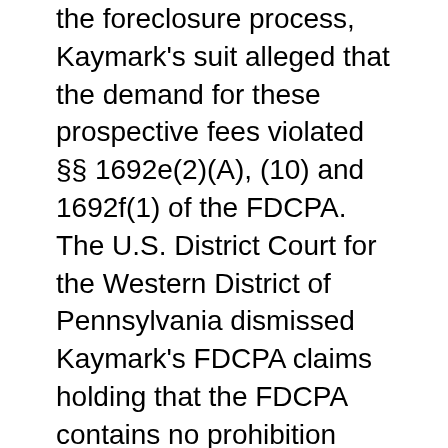the foreclosure process, Kaymark's suit alleged that the demand for these prospective fees violated §§ 1692e(2)(A), (10) and 1692f(1) of the FDCPA.  The U.S. District Court for the Western District of Pennsylvania dismissed Kaymark's FDCPA claims holding that the FDCPA contains no prohibition against claiming prospective fees that are reasonably expected to be incurred.
In reversing the district court's decision, the Third Circuit concluded that congressional amendments to other sections of the FDCPA, including §§ 1692e(11) and 1692g(d), specifically excluded their application to formal pleadings and therefore implied that